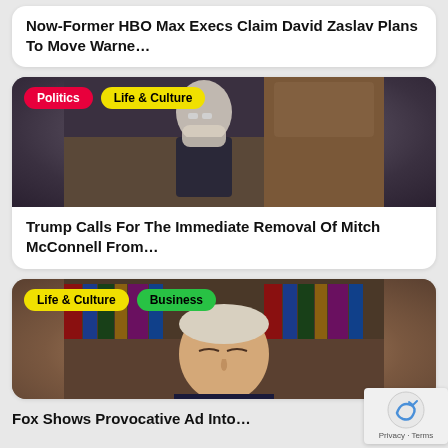Now-Former HBO Max Execs Claim David Zaslav Plans To Move Warne…
[Figure (photo): Photo of Mitch McConnell at Senate podium holding papers to his face]
Trump Calls For The Immediate Removal Of Mitch McConnell From…
[Figure (photo): Photo of Joe Biden with eyes closed, bookshelves in background]
Fox Shows Provocative Ad Into…